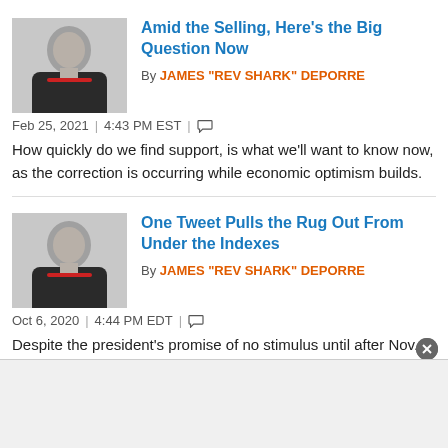Amid the Selling, Here's the Big Question Now
By JAMES "REV SHARK" DEPORRE
Feb 25, 2021  |  4:43 PM EST  |  💬
How quickly do we find support, is what we'll want to know now, as the correction is occurring while economic optimism builds.
One Tweet Pulls the Rug Out From Under the Indexes
By JAMES "REV SHARK" DEPORRE
Oct 6, 2020  |  4:44 PM EDT  |  💬
Despite the president's promise of no stimulus until after Nov. 3, there are no signs yet that this is the sort of correlated selling that leads to a deep correction.